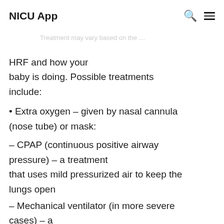NICU App
HRF and how your baby is doing. Possible treatments include:
• Extra oxygen – given by nasal cannula (nose tube) or mask:
– CPAP (continuous positive airway pressure) – a treatment that uses mild pressurized air to keep the lungs open
– Mechanical ventilator (in more severe cases) – a machine that helps your baby breathe